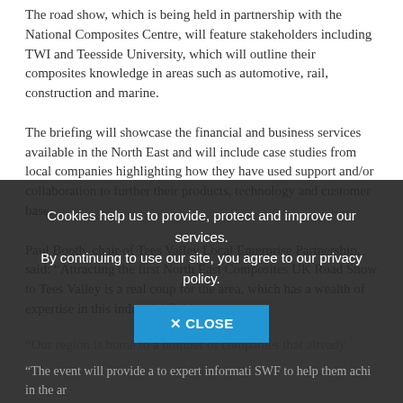The road show, which is being held in partnership with the National Composites Centre, will feature stakeholders including TWI and Teesside University, which will outline their composites knowledge in areas such as automotive, rail, construction and marine.
The briefing will showcase the financial and business services available in the North East and will include case studies from local companies highlighting how they have used support and/or collaboration to further their products, technology and customer base.
Paul Booth, chair of Tees Valley Local Enterprise Partnership, said: “Attracting the first North East Composites UK Road Show to Tees Valley is a real coup for the area, which has a wealth of expertise in this industrial field.
“Our region is home to a number of companies that already...
Cookies help us to provide, protect and improve our services. By continuing to use our site, you agree to our privacy policy.
“The event will provide a to... expert informati... SWF to help them achi... ... in the ar...